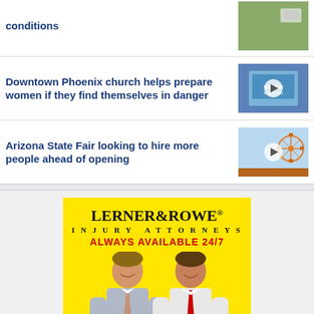conditions
[Figure (photo): Thumbnail image top right, partial view]
Downtown Phoenix church helps prepare women if they find themselves in danger
[Figure (photo): Thumbnail with play button showing Women Warriors app on tablet]
Arizona State Fair looking to hire more people ahead of opening
[Figure (photo): Thumbnail with play button showing Arizona State Fair rides]
[Figure (illustration): Lerner & Rowe Injury Attorneys advertisement on yellow background with two men in suits. Text: LERNER&ROWE INJURY ATTORNEYS ALWAYS AVAILABLE 24/7]